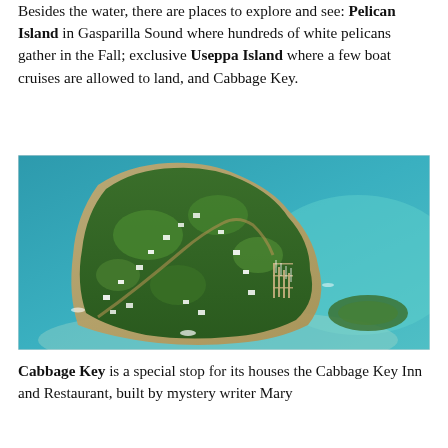Besides the water, there are places to explore and see: Pelican Island in Gasparilla Sound where hundreds of white pelicans gather in the Fall; exclusive Useppa Island where a few boat cruises are allowed to land, and Cabbage Key.
[Figure (photo): Aerial photograph of Cabbage Key, a small island surrounded by turquoise water with a marina of sailboats visible on the right side and tropical vegetation covering the island.]
Cabbage Key is a special stop for its houses the Cabbage Key Inn and Restaurant, built by mystery writer Mary